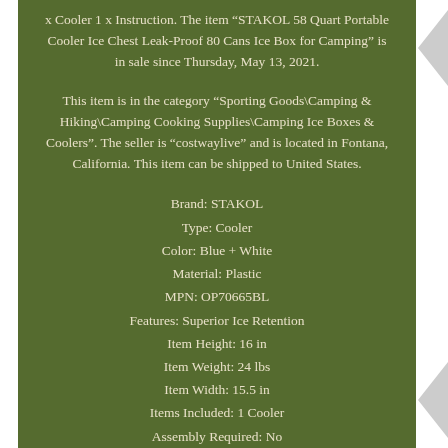x Cooler 1 x Instruction. The item "STAKOL 58 Quart Portable Cooler Ice Chest Leak-Proof 80 Cans Ice Box for Camping" is in sale since Thursday, May 13, 2021.
This item is in the category "Sporting Goods\Camping & Hiking\Camping Cooking Supplies\Camping Ice Boxes & Coolers". The seller is "costwaylive" and is located in Fontana, California. This item can be shipped to United States.
Brand: STAKOL
Type: Cooler
Color: Blue + White
Material: Plastic
MPN: OP70665BL
Features: Superior Ice Retention
Item Height: 16 in
Item Weight: 24 lbs
Item Width: 15.5 in
Items Included: 1 Cooler
Assembly Required: No
Assembly Status: Fully Assembled
Department: Adults
Firmness: Firm
Indoor/Outdoor: Indoor & Outdoor
Mount Type: Tabletop
Number of Items in Set: One-Piece
Product: Cooler
Room: Patio